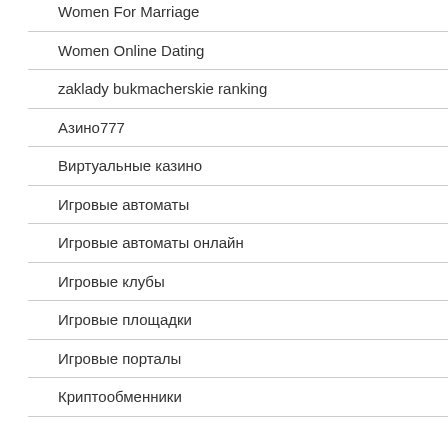Women For Marriage
Women Online Dating
zaklady bukmacherskie ranking
Азино777
Виртуальные казино
Игровые автоматы
Игровые автоматы онлайн
Игровые клубы
Игровые площадки
Игровые порталы
Криптообменники